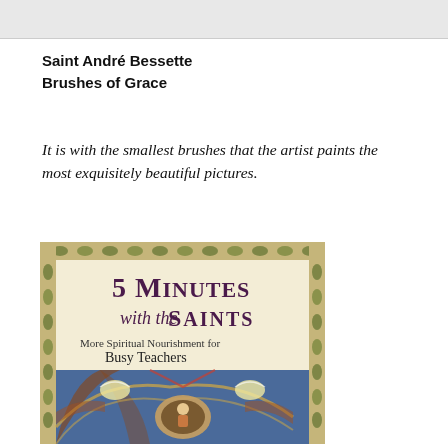Saint André Bessette
Brushes of Grace
It is with the smallest brushes that the artist paints the most exquisitely beautiful pictures.
[Figure (illustration): Book cover of '5 Minutes with the Saints: More Spiritual Nourishment for Busy Teachers' showing decorative floral border and a medieval-style religious fresco with angels and Christ figure in a mandorla]